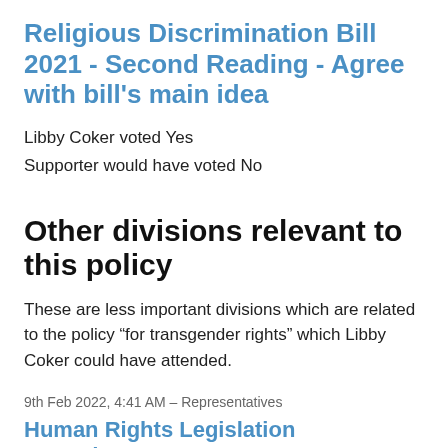Religious Discrimination Bill 2021 - Second Reading - Agree with bill's main idea
Libby Coker voted Yes
Supporter would have voted No
Other divisions relevant to this policy
These are less important divisions which are related to the policy “for transgender rights” which Libby Coker could have attended.
9th Feb 2022, 4:41 AM – Representatives
Human Rights Legislation Amendment